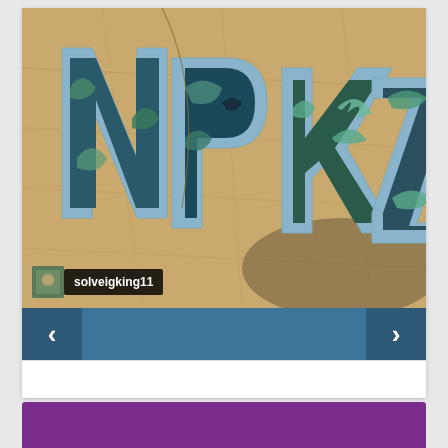[Figure (photo): Photo of decorative foam/fabric letters spelling 'NPKZ' with tropical leaf and bird patterns on a blue border, laid on a wooden floor. A user tag overlay reads 'solveigking11' with a small avatar photo.]
[Figure (other): Navigation bar with left arrow chevron, center space, and right arrow chevron on a teal/blue background]
[Figure (other): Purple bar at bottom of page (partial, cropped)]